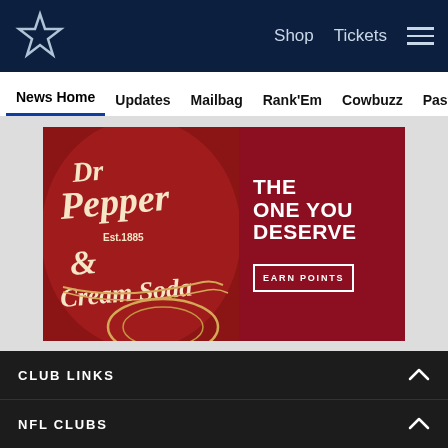Dallas Cowboys navigation bar with star logo, Shop, Tickets, and hamburger menu
News Home | Updates | Mailbag | Rank'Em | Cowbuzz | Past/Pres
[Figure (infographic): Dr Pepper & Cream Soda advertisement. Left half shows a close-up of the Dr Pepper & Cream Soda can label (Est.1885). Right half is dark red/maroon with bold white text: THE ONE YOU DESERVE and an EARN POINTS button.]
CLUB LINKS
NFL CLUBS
Social share icons: Facebook, Twitter, Email, Link